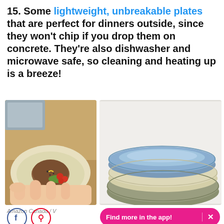15. Some lightweight, unbreakable plates that are perfect for dinners outside, since they won't chip if you drop them on concrete. They're also dishwasher and microwave safe, so cleaning and heating up is a breeze!
[Figure (photo): Left: A hand holding a cream/yellow plate with a burger patty and tomatoes on it, on a wooden surface. Right: Three stacked lightweight plates in blue, sage green, and cream/beige colors.]
Amazon Canada / V